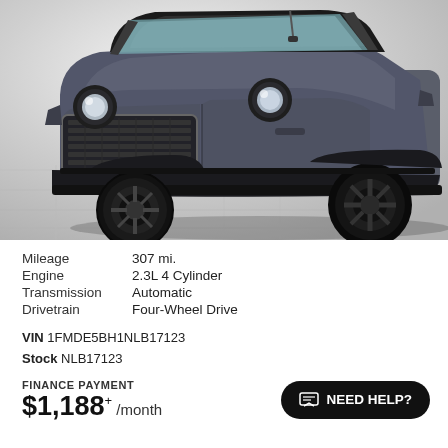[Figure (photo): Gray Ford Bronco SUV photographed at a three-quarter front angle on a tiled gray floor with white gradient background.]
| Mileage | 307 mi. |
| Engine | 2.3L 4 Cylinder |
| Transmission | Automatic |
| Drivetrain | Four-Wheel Drive |
VIN 1FMDE5BH1NLB17123
Stock NLB17123
FINANCE PAYMENT
$1,188+ /month
NEED HELP?